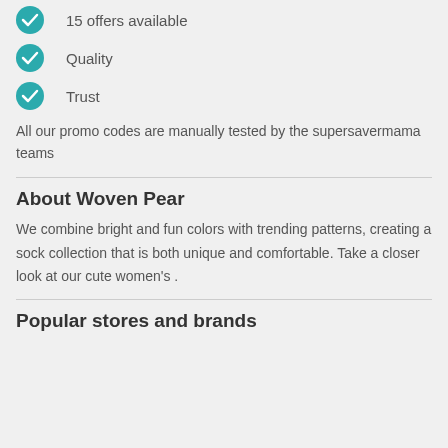15 offers available
Quality
Trust
All our promo codes are manually tested by the supersavermama teams
About Woven Pear
We combine bright and fun colors with trending patterns, creating a sock collection that is both unique and comfortable. Take a closer look at our cute women's .
Popular stores and brands